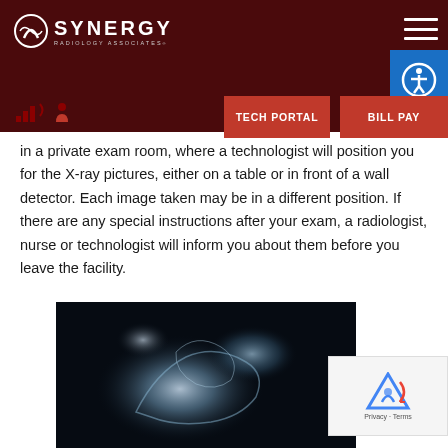Synergy Radiology Associates — TECH PORTAL | BILL PAY
in a private exam room, where a technologist will position you for the X-ray pictures, either on a table or in front of a wall detector. Each image taken may be in a different position. If there are any special instructions after your exam, a radiologist, nurse or technologist will inform you about them before you leave the facility.
[Figure (photo): X-ray image of what appears to be a hip or skeletal joint, shown in grayscale on a dark background]